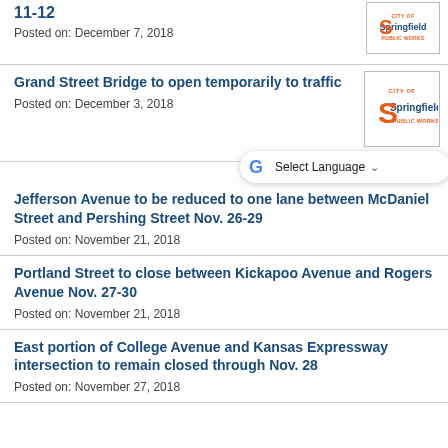11-12
Posted on: December 7, 2018
[Figure (logo): City of Springfield Public Works logo]
Grand Street Bridge to open temporarily to traffic
Posted on: December 3, 2018
[Figure (logo): City of Springfield Public Works logo]
[Figure (screenshot): Google Translate Select Language widget]
Jefferson Avenue to be reduced to one lane between McDaniel Street and Pershing Street Nov. 26-29
Posted on: November 21, 2018
Portland Street to close between Kickapoo Avenue and Rogers Avenue Nov. 27-30
Posted on: November 21, 2018
East portion of College Avenue and Kansas Expressway intersection to remain closed through Nov. 28
Posted on: November 27, 2018